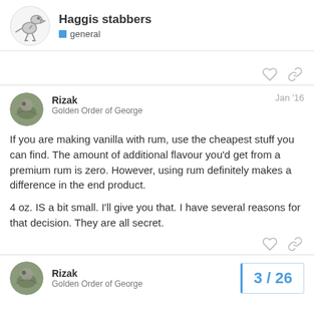Haggis stabbers — general
If you are making vanilla with rum, use the cheapest stuff you can find. The amount of additional flavour you'd get from a premium rum is zero. However, using rum definitely makes a difference in the end product.

4 oz. IS a bit small. I'll give you that. I have several reasons for that decision. They are all secret.
Rizak — Golden Order of George — 3 / 26